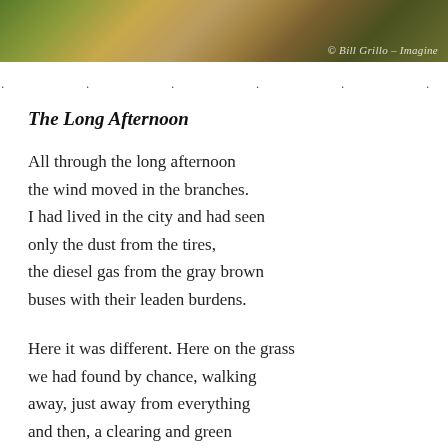[Figure (photo): Close-up nature photo of dry grass and leaves with photographer credit '© Bill Grillo – Imagine' in bottom right corner]
. . . . . .
The Long Afternoon
All through the long afternoon
the wind moved in the branches.
I had lived in the city and had seen
only the dust from the tires,
the diesel gas from the gray brown
buses with their leaden burdens.
Here it was different. Here on the grass
we had found by chance, walking
away, just away from everything
and then, a clearing and green